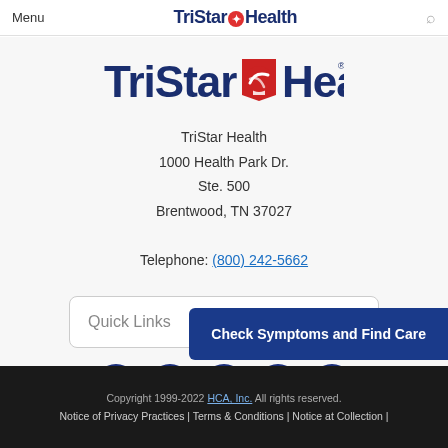Menu | TriStar Health | [search icon]
[Figure (logo): TriStar Health logo — bold dark blue text with red star emblem between 'TriStar' and 'Health']
TriStar Health
1000 Health Park Dr.
Ste. 500
Brentwood, TN 37027

Telephone: (800) 242-5662
Quick Links
[Figure (infographic): Social media icons row: Facebook, Instagram, Twitter, YouTube, Blogspot — all white icons on dark navy circles]
Check Symptoms and Find Care
Copyright 1999-2022 HCA, Inc. All rights reserved. | Notice of Privacy Practices | Terms & Conditions | Notice at Collection |